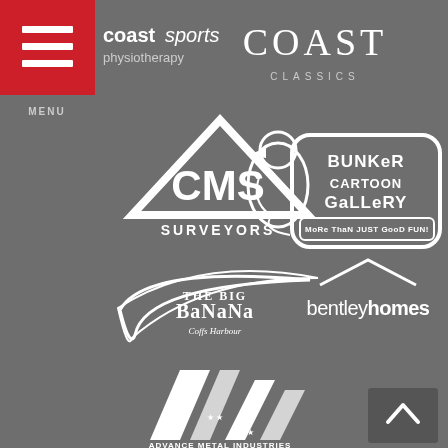[Figure (logo): Red hamburger menu button with three white horizontal bars and MENU label below]
[Figure (logo): coast sports physiotherapy logo - white text on dark background]
[Figure (logo): COAST CLASSICS logo in white thin lettering]
[Figure (logo): CMS Surveyors logo - white triangle with CMS text and SURVEYORS below]
[Figure (logo): Bunker Cartoon Gallery logo - cartoon kookaburra with speech bubble, More Than Just Good Fun tagline]
[Figure (logo): The Big Banana Coffs Harbour logo - white banana outline with text]
[Figure (logo): bentleyhomes logo in white lowercase text with roof shape]
[Figure (logo): Advance Metal Industries logo - white diagonal stripes with stars and text]